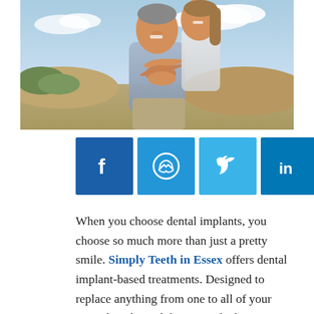[Figure (photo): A smiling couple outdoors on a beach, the woman hugging the man from behind, both looking happy]
[Figure (infographic): Social media sharing buttons: Facebook, Messenger, Twitter, LinkedIn, WhatsApp, Telegram, Email]
When you choose dental implants, you choose so much more than just a pretty smile. Simply Teeth in Essex offers dental implant-based treatments. Designed to replace anything from one to all of your natural teeth. And they provide the most realistic option in terms of action as well as appearance.